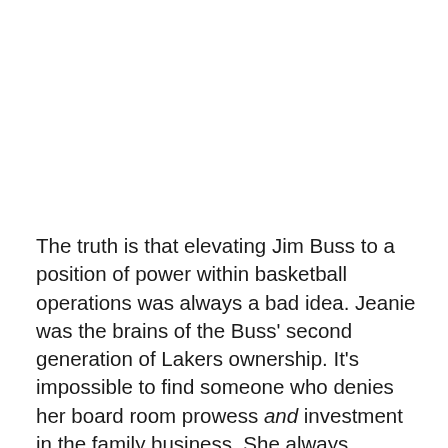The truth is that elevating Jim Buss to a position of power within basketball operations was always a bad idea. Jeanie was the brains of the Buss' second generation of Lakers ownership. It's impossible to find someone who denies her board room prowess and investment in the family business. She always deserved full control of the entire franchise. Setting up his son to run the front office and pressuring Jeanie (in whatever way) to give him a long leash is frankly an